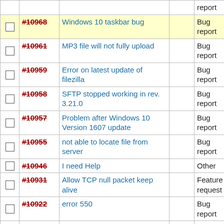|  | # | Title |  | Type |
| --- | --- | --- | --- | --- |
|  | #10968 | Windows 10 taskbar bug |  | Bug report |
|  | #10961 | MP3 file will not fully upload |  | Bug report |
|  | #10959 | Error on latest update of filezilla |  | Bug report |
|  | #10958 | SFTP stopped working in rev. 3.21.0 |  | Bug report |
|  | #10957 | Problem after Windows 10 Version 1607 update |  | Bug report |
|  | #10955 | not able to locate file from server |  | Bug report |
|  | #10946 | I need Help |  | Other |
|  | #10931 | Allow TCP null packet keep alive |  | Feature request |
|  | #10922 | error 550 |  | Bug report |
|  | #10916 | "Received certificate chain could not be verified. Verification... |  | Bug report |